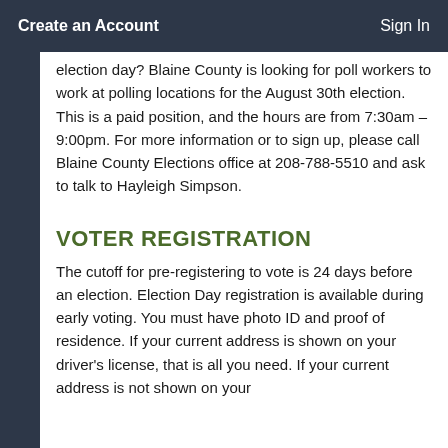Create an Account    Sign In
election day? Blaine County is looking for poll workers to work at polling locations for the August 30th election. This is a paid position, and the hours are from 7:30am – 9:00pm. For more information or to sign up, please call Blaine County Elections office at 208-788-5510 and ask to talk to Hayleigh Simpson.
VOTER REGISTRATION
The cutoff for pre-registering to vote is 24 days before an election. Election Day registration is available during early voting. You must have photo ID and proof of residence. If your current address is shown on your driver's license, that is all you need. If your current address is not shown on your